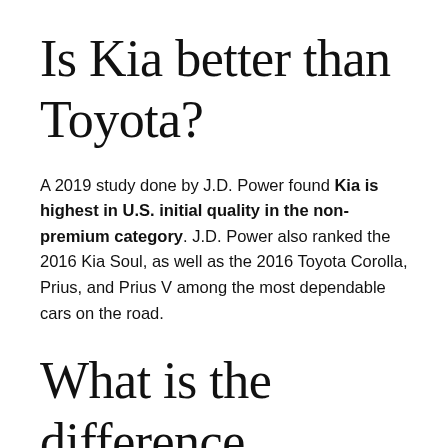Is Kia better than Toyota?
A 2019 study done by J.D. Power found Kia is highest in U.S. initial quality in the non-premium category. J.D. Power also ranked the 2016 Kia Soul, as well as the 2016 Toyota Corolla, Prius, and Prius V among the most dependable cars on the road.
What is the difference between